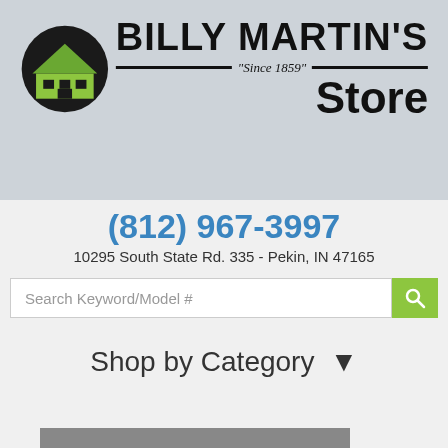[Figure (logo): Billy Martin's Store logo with building icon and 'Since 1859' tagline]
(812) 967-3997
10295 South State Rd. 335 - Pekin, IN 47165
Search Keyword/Model #
Shop by Category ▾
Shop by Brand